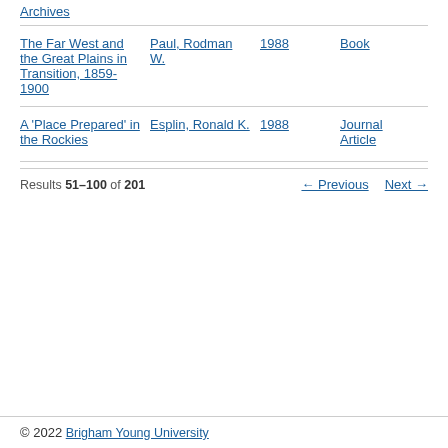Archives
The Far West and the Great Plains in Transition, 1859-1900 | Paul, Rodman W. | 1988 | Book
A 'Place Prepared' in the Rockies | Esplin, Ronald K. | 1988 | Journal Article
Results 51–100 of 201
← Previous   Next →
© 2022 Brigham Young University